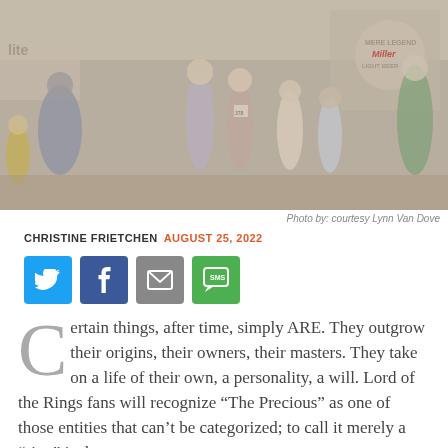[Figure (photo): Group of runners and spectators at what appears to be a road race finish area, with Miller Lite beer sponsorship banners visible in the background. Black and white/faded color photo.]
Photo by: courtesy Lynn Van Dove
CHRISTINE FRIETCHEN  AUGUST 25, 2022
[Figure (infographic): Social sharing buttons: Twitter (blue), Facebook (blue), Email (grey), SMS (green)]
Certain things, after time, simply ARE. They outgrow their origins, their owners, their masters. They take on a life of their own, a personality, a will. Lord of the Rings fans will recognize “The Precious” as one of those entities that can’t be categorized; to call it merely a “ring” is the